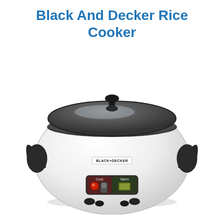Black And Decker Rice Cooker
[Figure (photo): A Black+Decker rice cooker with a white body, dark gray/black lid with a knob on top, black handles on the sides, and a control panel at the front showing Cook (red indicator) and Warm (green indicator) labels with a lever switch. The appliance sits on four small rubber feet. The BLACK+DECKER logo is visible on the front of the unit.]